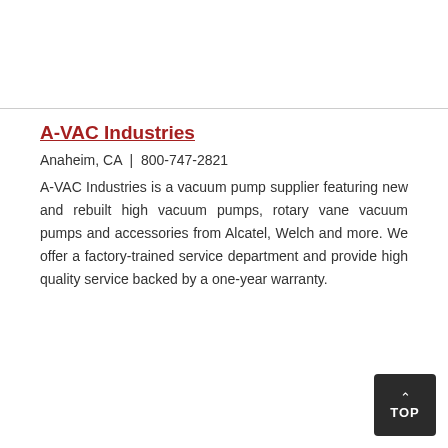A-VAC Industries
Anaheim, CA | 800-747-2821
A-VAC Industries is a vacuum pump supplier featuring new and rebuilt high vacuum pumps, rotary vane vacuum pumps and accessories from Alcatel, Welch and more. We offer a factory-trained service department and provide high quality service backed by a one-year warranty.